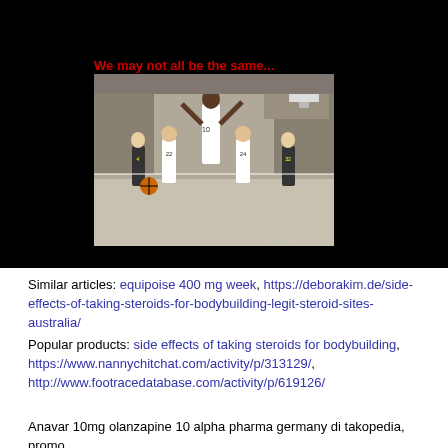[Figure (photo): Black background slide with red text 'We may not all be the same...' above a basketball game photo featuring an extremely tall player (#10) towering over other players on the court.]
Similar articles: equipoise 400 mg week, https://deborakim.de/side-effects-of-taking-steroids-for-bodybuilding-legit-steroid-sites-australia/
Popular products: side effects of taking steroids for bodybuilding, https://www.nannychitchat.com/activity/p/313129/, http://www.footracedatabase.com/activity/p/619126/
Anavar 10mg olanzapine 10 alpha pharma germany di takopedia, promo...